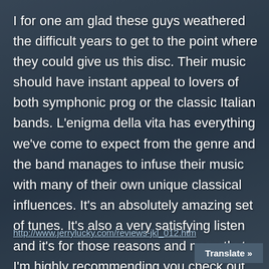I for one am glad these guys weathered the difficult years to get to the point where they could give us this disc. Their music should have instant appeal to lovers of both symphonic prog or the classic Italian bands. L'enigma della vita has everything we've come to expect from the genre and the band manages to infuse their music with many of their own unique classical influences. It's an absolutely amazing set of tunes. It's also a very satisfying listen and it's for those reasons and more that I'm highly recommending you check out LogoS.
http://www.jerrylucky.com/reviews-jkl_012.htm
Translate »